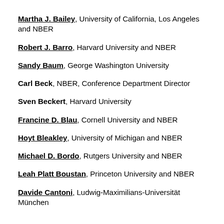Martha J. Bailey, University of California, Los Angeles and NBER
Robert J. Barro, Harvard University and NBER
Sandy Baum, George Washington University
Carl Beck, NBER, Conference Department Director
Sven Beckert, Harvard University
Francine D. Blau, Cornell University and NBER
Hoyt Bleakley, University of Michigan and NBER
Michael D. Bordo, Rutgers University and NBER
Leah Platt Boustan, Princeton University and NBER
Davide Cantoni, Ludwig-Maximilians-Universität München